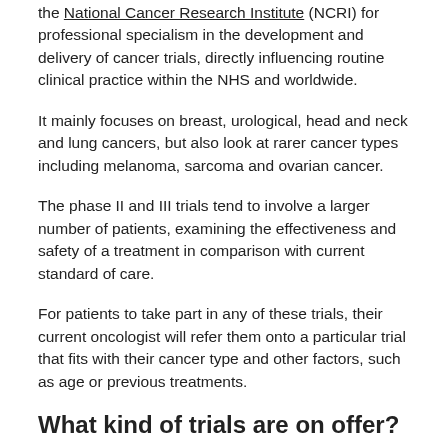the National Cancer Research Institute (NCRI) for professional specialism in the development and delivery of cancer trials, directly influencing routine clinical practice within the NHS and worldwide.
It mainly focuses on breast, urological, head and neck and lung cancers, but also look at rarer cancer types including melanoma, sarcoma and ovarian cancer.
The phase II and III trials tend to involve a larger number of patients, examining the effectiveness and safety of a treatment in comparison with current standard of care.
For patients to take part in any of these trials, their current oncologist will refer them onto a particular trial that fits with their cancer type and other factors, such as age or previous treatments.
What kind of trials are on offer?
The ICR-CTSU currently have over 60 clinical trials at various stages in the clinical trial lifecycle. Here are some examples of just a few: